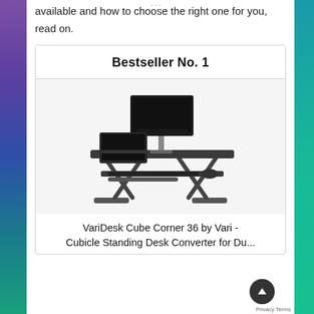available and how to choose the right one for you, read on.
Bestseller No. 1
[Figure (photo): Standing desk converter (VariDesk Cube Corner 36) with dual monitor setup - one large monitor on a stand, one laptop, keyboard and mouse on a raised platform with scissor-lift mechanism]
VariDesk Cube Corner 36 by Vari - Cubicle Standing Desk Converter for Du...